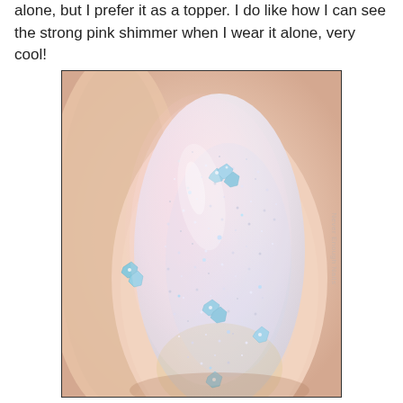alone, but I prefer it as a topper. I do like how I can see the strong pink shimmer when I wear it alone, very cool!
[Figure (photo): Close-up macro photograph of a fingernail painted with a sheer glittery nail polish featuring silver holographic glitter and scattered light blue aqua gem/crystal pieces, creating a sparkly iridescent effect with a pink shimmer. The nail has a rounded square shape. Watermark reads 'Never Enough Nails'.]